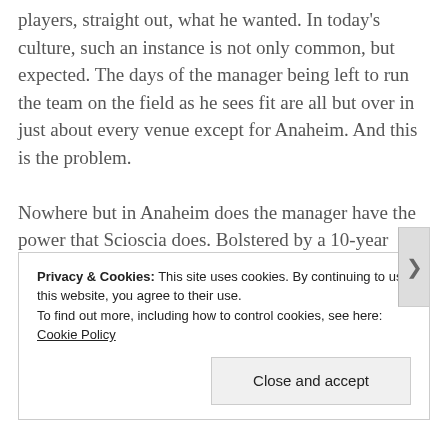players, straight out, what he wanted. In today's culture, such an instance is not only common, but expected. The days of the manager being left to run the team on the field as he sees fit are all but over in just about every venue except for Anaheim. And this is the problem.
Nowhere but in Anaheim does the manager have the power that Scioscia does. Bolstered by a 10-year contract and the (mostly) unwavering support of the owner, Scioscia has a backchannel to complain to the owner that has all but disappeared with the retirements of the likes of Joe Torre, Jim Leyland
Privacy & Cookies: This site uses cookies. By continuing to use this website, you agree to their use. To find out more, including how to control cookies, see here: Cookie Policy
Close and accept